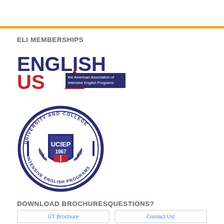ELI MEMBERSHIPS
[Figure (logo): English USA logo - the American Association of Intensive English Programs]
[Figure (logo): UCIEP 1967 logo - University and College Intensive English Programs circular seal]
DOWNLOAD BROCHURESQUESTIONS?
UT Brochure
Contact Us!